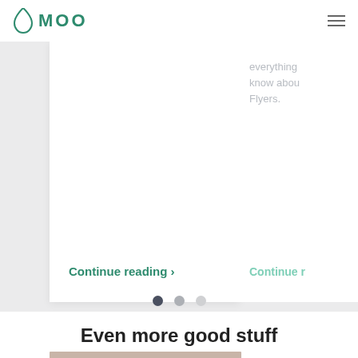[Figure (logo): MOO logo with green water drop icon and MOO text in green]
[Figure (other): Hamburger menu icon (three horizontal lines)]
[Figure (screenshot): Carousel cards on a gray background. A white card on the left shows a 'Continue reading >' link in green. A partially visible white card on the right shows text 'everything know abou Flyers.' in gray and 'Continue r' link in light green.]
[Figure (other): Carousel pagination dots: one dark dot (active), one medium gray dot, one light gray dot]
Even more good stuff
[Figure (photo): Partially visible image strip at the bottom of the page]